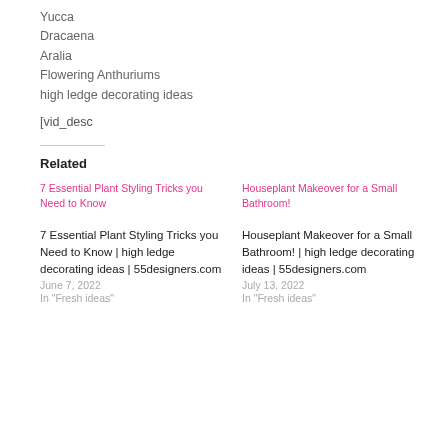Yucca
Dracaena
Aralia
Flowering Anthuriums
high ledge decorating ideas
[vid_desc
Related
[Figure (screenshot): Thumbnail image link: 7 Essential Plant Styling Tricks you Need to Know]
[Figure (screenshot): Thumbnail image link: Houseplant Makeover for a Small Bathroom!]
7 Essential Plant Styling Tricks you Need to Know | high ledge decorating ideas | 55designers.com
June 7, 2022
In "Fresh ideas"
Houseplant Makeover for a Small Bathroom! | high ledge decorating ideas | 55designers.com
July 13, 2022
In "Fresh ideas"